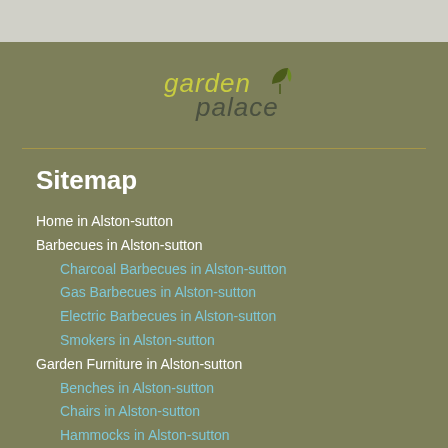[Figure (logo): Garden Palace logo with stylized text and leaf icon]
Sitemap
Home in Alston-sutton
Barbecues in Alston-sutton
Charcoal Barbecues in Alston-sutton
Gas Barbecues in Alston-sutton
Electric Barbecues in Alston-sutton
Smokers in Alston-sutton
Garden Furniture in Alston-sutton
Benches in Alston-sutton
Chairs in Alston-sutton
Hammocks in Alston-sutton
Canopies in Alston-sutton